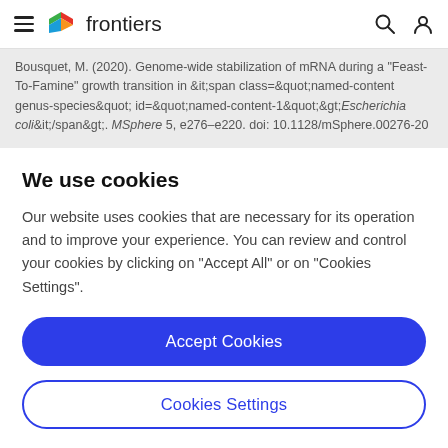frontiers
Bousquet, M. (2020). Genome-wide stabilization of mRNA during a "Feast-To-Famine" growth transition in &it;span class=&quot;named-content genus-species&quot; id=&quot;named-content-1&quot;&gt;Escherichia coli&it;/span&gt;. MSphere 5, e276–e220. doi: 10.1128/mSphere.00276-20
We use cookies
Our website uses cookies that are necessary for its operation and to improve your experience. You can review and control your cookies by clicking on "Accept All" or on "Cookies Settings".
Accept Cookies
Cookies Settings